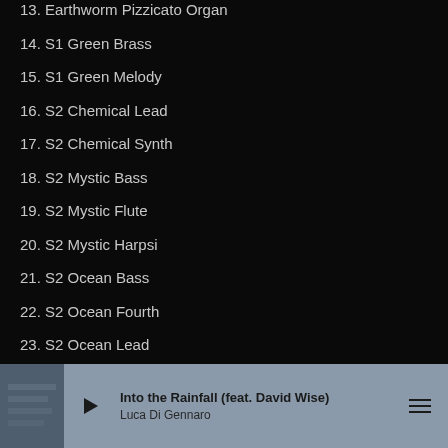13. Earthworm Pizzicato Organ
14. S1 Green Brass
15. S1 Green Melody
16. S2 Chemical Lead
17. S2 Chemical Synth
18. S2 Mystic Bass
19. S2 Mystic Flute
20. S2 Mystic Harpsi
21. S2 Ocean Bass
22. S2 Ocean Fourth
23. S2 Ocean Lead
24. Shun Di Koto
25. Stickerbass
26. Stickerbush Pizzicato
Into the Rainfall (feat. David Wise)
Luca Di Gennaro